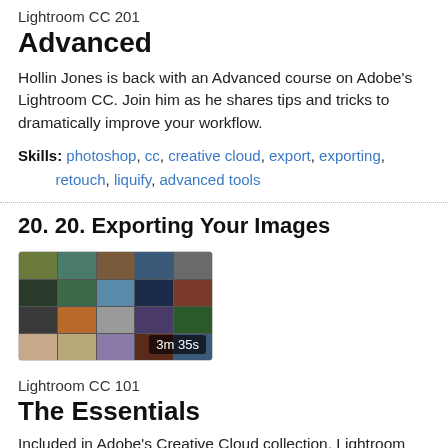Lightroom CC 201
Advanced
Hollin Jones is back with an Advanced course on Adobe's Lightroom CC. Join him as he shares tips and tricks to dramatically improve your workflow.
Skills: photoshop, cc, creative cloud, export, exporting, retouch, liquify, advanced tools
20. 20. Exporting Your Images
[Figure (photo): Thumbnail grid of multiple photos showing landscapes, portraits, and nature images. Duration badge shows 3m 35s.]
Lightroom CC 101
The Essentials
Included in Adobe's Creative Cloud collection, Lightroom CC is the perfect cloud-based solution for importing, organizing, editing and sharing your digital images. Learn how to work efficiently with this powerful application in this course taught by professional photographer and trainer, Hollin Jones.